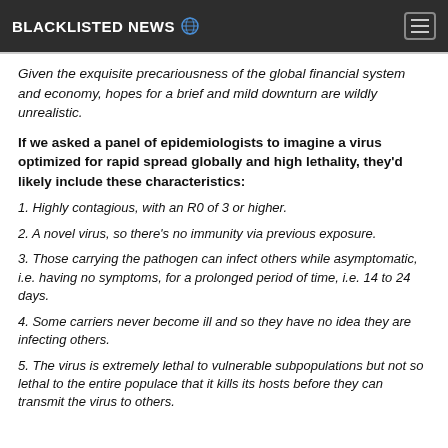BLACKLISTED NEWS 🌐
Given the exquisite precariousness of the global financial system and economy, hopes for a brief and mild downturn are wildly unrealistic.
If we asked a panel of epidemiologists to imagine a virus optimized for rapid spread globally and high lethality, they'd likely include these characteristics:
1. Highly contagious, with an R0 of 3 or higher.
2. A novel virus, so there's no immunity via previous exposure.
3. Those carrying the pathogen can infect others while asymptomatic, i.e. having no symptoms, for a prolonged period of time, i.e. 14 to 24 days.
4. Some carriers never become ill and so they have no idea they are infecting others.
5. The virus is extremely lethal to vulnerable subpopulations but not so lethal to the entire populace that it kills its hosts before they can transmit the virus to others.